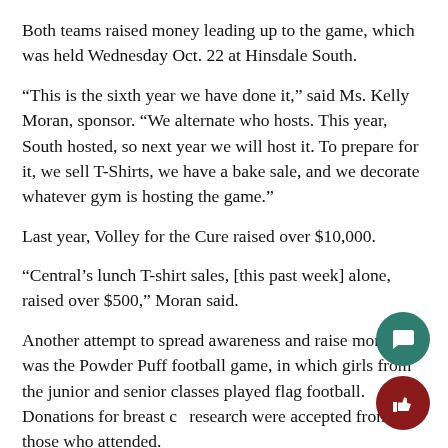Both teams raised money leading up to the game, which was held Wednesday Oct. 22 at Hinsdale South.
“This is the sixth year we have done it,” said Ms. Kelly Moran, sponsor. “We alternate who hosts. This year, South hosted, so next year we will host it. To prepare for it, we sell T-Shirts, we have a bake sale, and we decorate whatever gym is hosting the game.”
Last year, Volley for the Cure raised over $10,000.
“Central’s lunch T-shirt sales, [this past week] alone, raised over $500,” Moran said.
Another attempt to spread awareness and raise money was the Powder Puff football game, in which girls from the junior and senior classes played flag football. Donations for breast ca research were accepted from those who attended.
“I just wrote a check for $3,504,”said Ms. Kelly Watson, sp “I believe it has been going for six years. The girls always ch